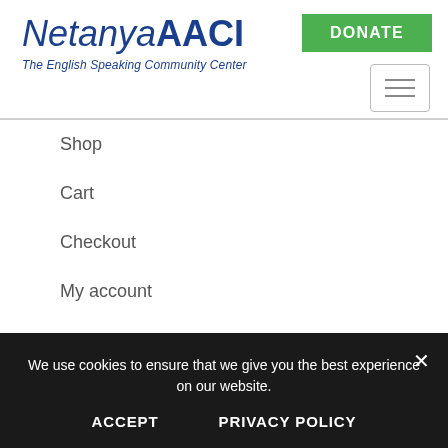[Figure (logo): Netanya AACI logo with italic Netanya in dark blue, bold AACI in dark blue, and italic subtitle 'The English Speaking Community Center']
DONATE
[Figure (other): Hamburger menu icon — three horizontal lines in a rounded rectangle border]
Shop
Cart
Checkout
My account
FAQ
We use cookies to ensure that we give you the best experience on our website.
ACCEPT
PRIVACY POLICY